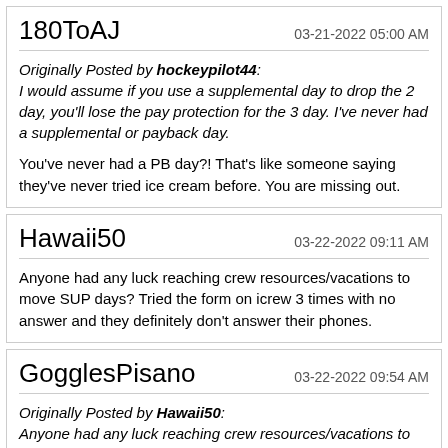180ToAJ
03-21-2022 05:00 AM
Originally Posted by hockeypilot44: I would assume if you use a supplemental day to drop the 2 day, you'll lose the pay protection for the 3 day. I've never had a supplemental or payback day.
You've never had a PB day?! That's like someone saying they've never tried ice cream before. You are missing out.
Hawaii50
03-22-2022 09:11 AM
Anyone had any luck reaching crew resources/vacations to move SUP days? Tried the form on icrew 3 times with no answer and they definitely don't answer their phones.
GogglesPisano
03-22-2022 09:54 AM
Originally Posted by Hawaii50: Anyone had any luck reaching crew resources/vacations to move SUP days? Tried the form on icrew 3 times with no answer and they definitely don't answer their phones.
I've had good luck with Smart Sheets if that's what you're referring to. I received a response within 24hrs.